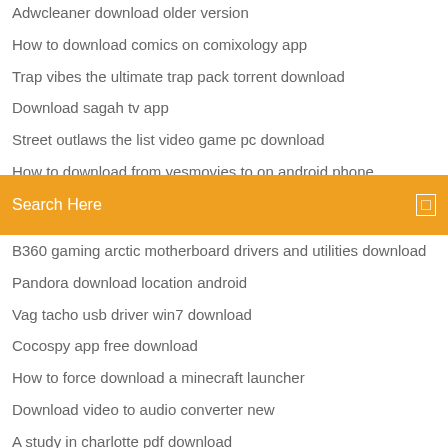Adwcleaner download older version
How to download comics on comixology app
Trap vibes the ultimate trap pack torrent download
Download sagah tv app
Street outlaws the list video game pc download
How to download from yesmovies.to on android phone
Vox explained download mp4
[Figure (screenshot): Orange search bar with text 'Search Here' and a small square icon on the right]
B360 gaming arctic motherboard drivers and utilities download
Pandora download location android
Vag tacho usb driver win7 download
Cocospy app free download
How to force download a minecraft launcher
Download video to audio converter new
A study in charlotte pdf download
Shar file softwares download free
Esprit 2018 torrent download